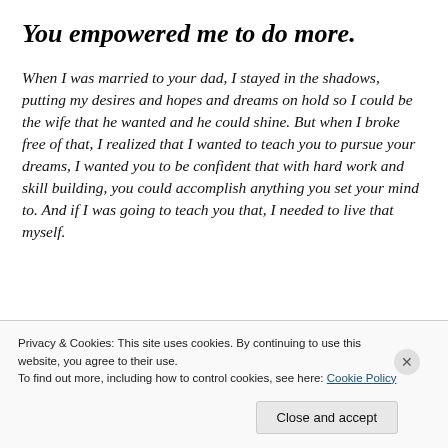You empowered me to do more.
When I was married to your dad, I stayed in the shadows, putting my desires and hopes and dreams on hold so I could be the wife that he wanted and he could shine. But when I broke free of that, I realized that I wanted to teach you to pursue your dreams, I wanted you to be confident that with hard work and skill building, you could accomplish anything you set your mind to. And if I was going to teach you that, I needed to live that myself.
Privacy & Cookies: This site uses cookies. By continuing to use this website, you agree to their use.
To find out more, including how to control cookies, see here: Cookie Policy
Close and accept